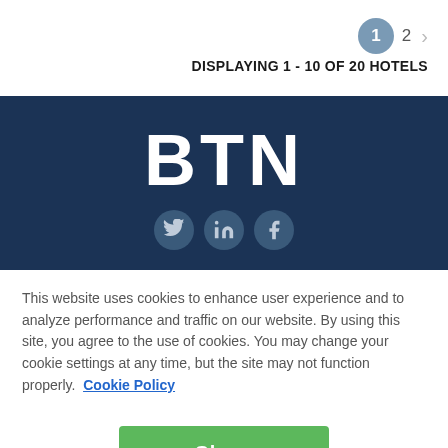1  2  >
DISPLAYING 1 - 10 OF 20 HOTELS
[Figure (logo): BTN logo on dark navy blue background with Twitter, LinkedIn, and Facebook social media icons below]
This website uses cookies to enhance user experience and to analyze performance and traffic on our website. By using this site, you agree to the use of cookies. You may change your cookie settings at any time, but the site may not function properly.  Cookie Policy
Close